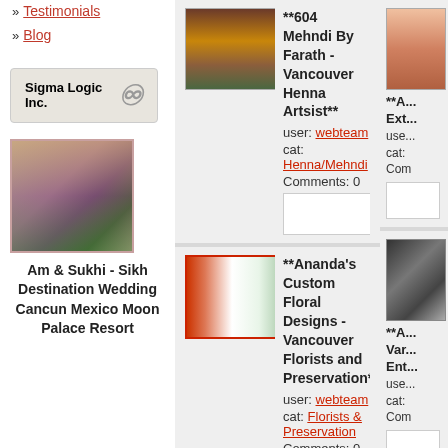» Testimonials
» Blog
Sigma Logic Inc.
[Figure (photo): Wedding photo collage featuring Sikh destination wedding in Cancun Mexico]
Am & Sukhi - Sikh Destination Wedding Cancun Mexico Moon Palace Resort
[Figure (photo): Henna/Mehndi artwork promotional image - 604 Mehndi By Farath Vancouver Henna Artist]
**604 Mehndi By Farath - Vancouver Henna Artsist**
user: webteam
cat: Henna/Mehndi
Comments: 0
[Figure (photo): Ananda's Custom Floral Designs promotional image]
**Ananda's Custom Floral Designs - Vancouver Florists and Preservation**
user: webteam
cat: Florists & Preservation
Comments: 0
[Figure (photo): Partially visible right column images]
**A... Ext...
use...
cat:
Com
**A... Vancouver Ent...
use...
cat:
Com